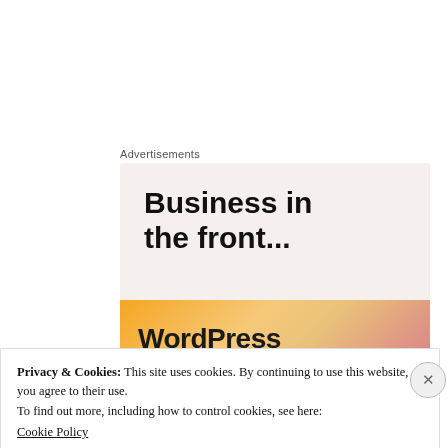Advertisements
[Figure (illustration): WordPress advertisement banner with text 'Business in the front...' on a light beige background, and a gradient orange-to-pink bar showing 'WordPress' in bold black text.]
March 8, 1872. Page 1
Privacy & Cookies: This site uses cookies. By continuing to use this website, you agree to their use.
To find out more, including how to control cookies, see here:
Cookie Policy
Close and accept